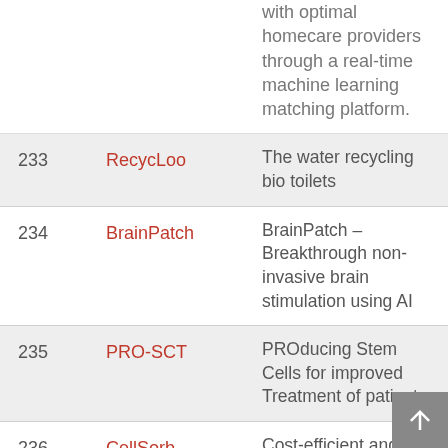| # | Name | Description |
| --- | --- | --- |
|  |  | with optimal homecare providers through a real-time machine learning matching platform. |
| 233 | RecycLoo | The water recycling bio toilets |
| 234 | BrainPatch | BrainPatch – Breakthrough non-invasive brain stimulation using AI |
| 235 | PRO-SCT | PROducing Stem Cells for improved Treatment of patients |
| 236 | CellSorb | Cost-efficient and safe cellulosic food pad |